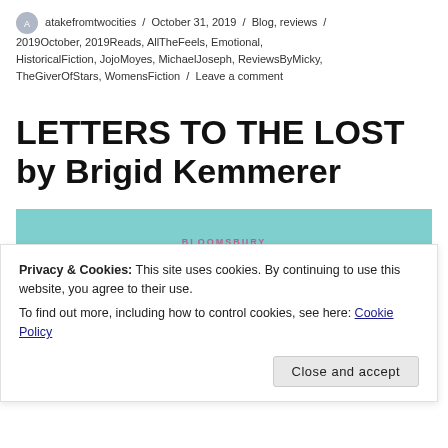atakefromtwocities / October 31, 2019 / Blog, reviews / 2019October, 2019Reads, AllTheFeels, Emotional, HistoricalFiction, JojoMoyes, MichaelJoseph, ReviewsByMicky, TheGiverOfStars, WomensFiction / Leave a comment
LETTERS TO THE LOST by Brigid Kemmerer
[Figure (illustration): Book cover showing BLOOMSBURY label on teal/turquoise background, partially visible]
Privacy & Cookies: This site uses cookies. By continuing to use this website, you agree to their use.
To find out more, including how to control cookies, see here: Cookie Policy
Close and accept